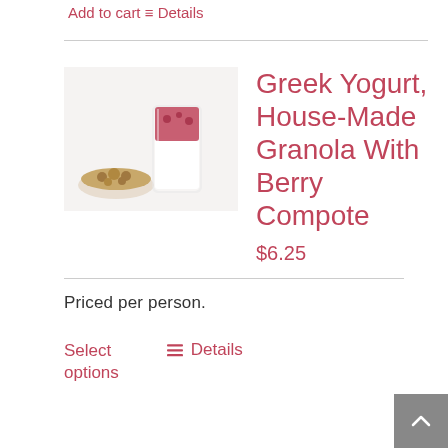Add to cart   Details
[Figure (photo): Photo of Greek yogurt parfait in a glass with berry compote on top, and a small bowl of house-made granola beside it, on a white background.]
Greek Yogurt, House-Made Granola With Berry Compote
$6.25
Priced per person.
Select options
Details